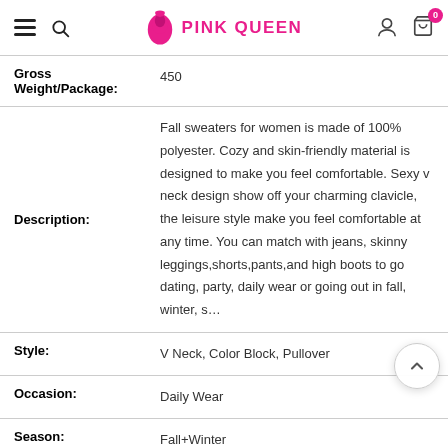Pink Queen
| Gross Weight/Package: | 450 |
| Description: | Fall sweaters for women is made of 100% polyester. Cozy and skin-friendly material is designed to make you feel comfortable. Sexy v neck design show off your charming clavicle, the leisure style make you feel comfortable at any time. You can match with jeans, skinny leggings,shorts,pants,and high boots to go dating, party, daily wear or going out in fall, winter, s… |
| Style: | V Neck, Color Block, Pullover |
| Occasion: | Daily Wear |
| Season: | Fall+Winter |